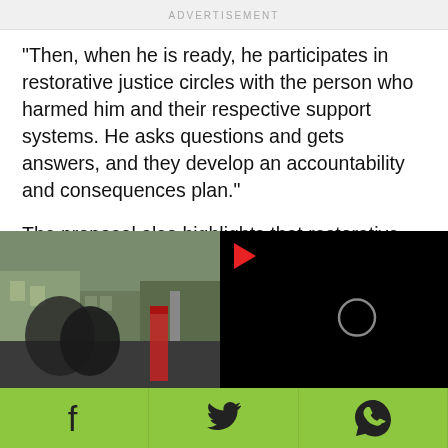ADVERTISEMENT
"Then, when he is ready, he participates in restorative justice circles with the person who harmed him and their respective support systems. He asks questions and gets answers, and they develop an accountability and consequences plan."
The proposal also highlights that restorative justice programs and mediation experts can de-escalate conflict and facilitate resolution through dialogue.
[Figure (photo): Street scene with people and buildings in background]
[Figure (screenshot): Black video player overlay with red play button and loading spinner]